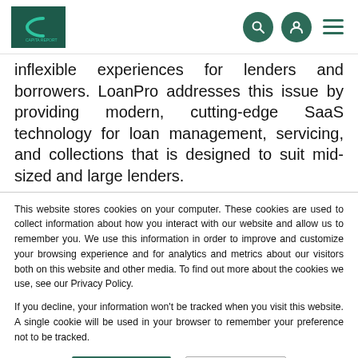LoanPro logo and navigation icons
inflexible experiences for lenders and borrowers. LoanPro addresses this issue by providing modern, cutting-edge SaaS technology for loan management, servicing, and collections that is designed to suit mid-sized and large lenders.
This website stores cookies on your computer. These cookies are used to collect information about how you interact with our website and allow us to remember you. We use this information in order to improve and customize your browsing experience and for analytics and metrics about our visitors both on this website and other media. To find out more about the cookies we use, see our Privacy Policy.
If you decline, your information won't be tracked when you visit this website. A single cookie will be used in your browser to remember your preference not to be tracked.